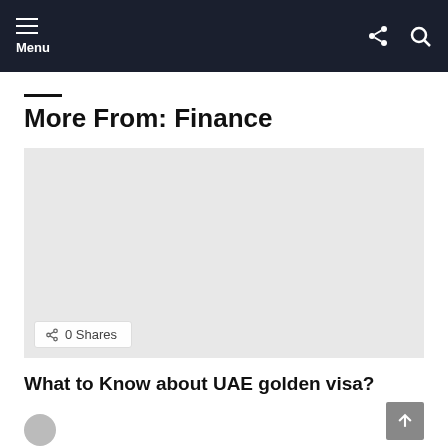Menu
More From: Finance
[Figure (other): Gray placeholder image block with 0 Shares badge in bottom left]
What to Know about UAE golden visa?